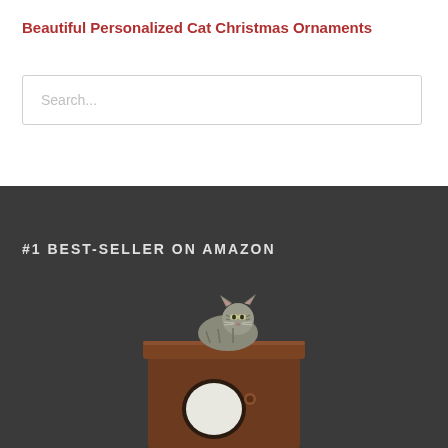Beautiful Personalized Cat Christmas Ornaments
[Figure (screenshot): Search bar with placeholder text 'Search...']
#1 BEST-SELLER ON AMAZON
[Figure (photo): Photo of a tabby cat sitting on top of a brown cube-shaped cat house with a circular entry hole on the front]